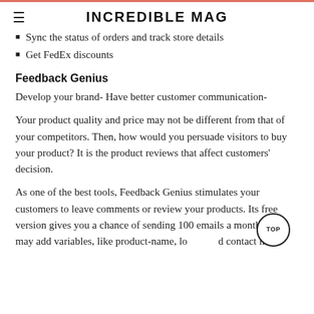INCREDIBLE MAG
Sync the status of orders and track store details
Get FedEx discounts
Feedback Genius
Develop your brand- Have better customer communication-
Your product quality and price may not be different from that of your competitors. Then, how would you persuade visitors to buy your product? It is the product reviews that affect customers' decision.
As one of the best tools, Feedback Genius stimulates your customers to leave comments or review your products. Its free version gives you a chance of sending 100 emails a month. You may add variables, like product-name, lo and contact link.